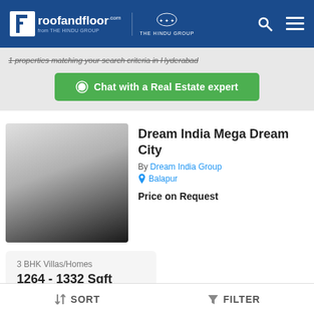roofandfloor.com from THE HINDU GROUP | THE HINDU GROUP
1 properties matching your search criteria in Hyderabad
Chat with a Real Estate expert
Dream India Mega Dream City
By Dream India Group
Balapur
Price on Request
[Figure (photo): Property thumbnail image with gradient from light grey to dark grey/black]
3 BHK Villas/Homes
1264 - 1332 Sqft
Pride Meadows
SORT | FILTER